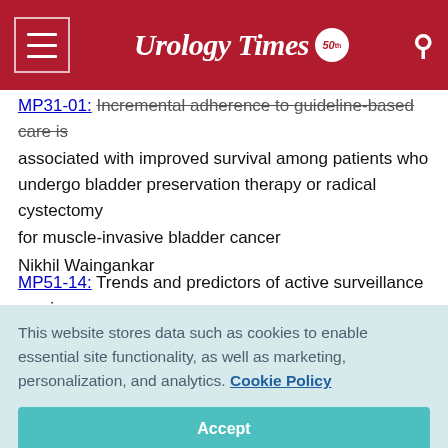Urology Times 50
MP31-01: Incremental adherence to guideline-based care is associated with improved survival among patients who undergo bladder preservation therapy or radical cystectomy for muscle-invasive bladder cancer
Nikhil Waingankar
MP51-14: Trends and predictors of active surveillance use in the United States for patients with clinical T1 renal masses
This website stores data such as cookies to enable essential site functionality, as well as marketing, personalization, and analytics. Cookie Policy
Accept
Deny